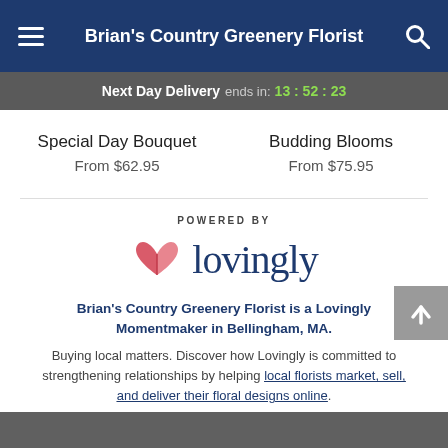Brian's Country Greenery Florist
Next Day Delivery ends in: 13:52:23
Special Day Bouquet
From $62.95
Budding Blooms
From $75.95
[Figure (logo): Powered by Lovingly logo with pink/red book-heart icon and dark blue 'lovingly' wordmark]
Brian's Country Greenery Florist is a Lovingly Momentmaker in Bellingham, MA.
Buying local matters. Discover how Lovingly is committed to strengthening relationships by helping local florists market, sell, and deliver their floral designs online.